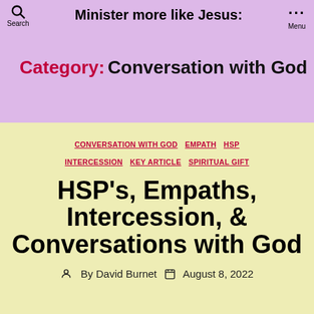Minister more like Jesus:
Category: Conversation with God
CONVERSATION WITH GOD  EMPATH  HSP  INTERCESSION  KEY ARTICLE  SPIRITUAL GIFT
HSP's, Empaths, Intercession, & Conversations with God
By David Burnet  August 8, 2022